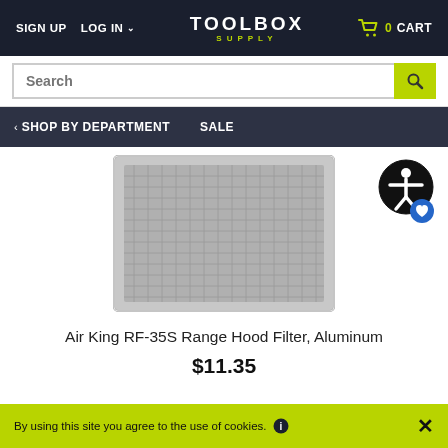SIGN UP  LOG IN  TOOLBOX SUPPLY  0 CART
[Figure (screenshot): Toolbox Supply e-commerce website screenshot showing navigation header with SIGN UP, LOG IN links, TOOLBOX SUPPLY logo, cart, search bar, SHOP BY DEPARTMENT and SALE nav links, product image of Air King RF-35S Range Hood Filter Aluminum, price $11.35, accessibility icon, and cookie consent bar.]
Air King RF-35S Range Hood Filter, Aluminum
$11.35
By using this site you agree to the use of cookies.